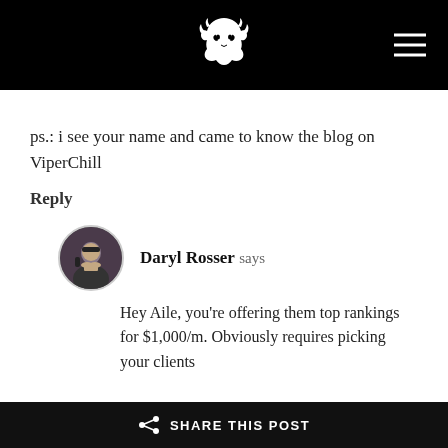[Figure (logo): White lion head logo on black header bar with hamburger menu icon on the right]
ps.: i see your name and came to know the blog on ViperChill
Reply
[Figure (photo): Circular avatar photo of Daryl Rosser]
Daryl Rosser says
Hey Aile, you’re offering them top rankings for $1,000/m. Obviously requires picking your clients
SHARE THIS POST